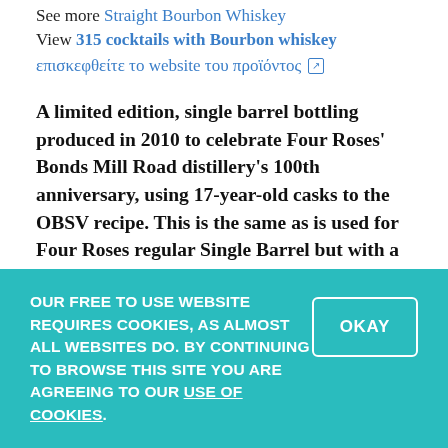See more Straight Bourbon Whiskey
View 315 cocktails with Bourbon whiskey
επισκεφθείτε το website του προϊόντος [external link]
A limited edition, single barrel bottling produced in 2010 to celebrate Four Roses' Bonds Mill Road distillery's 100th anniversary, using 17-year-old casks to the OBSV recipe. This is the same as is used for Four Roses regular Single Barrel but with a different flavour profile due to the extra age.
This mash bill has slightly less corn so giving a spicier woody profile but also uses a fruity yeast culture
OUR FREE TO USE WEBSITE REQUIRES COOKIES, AS ALMOST ALL WEBSITES DO. BY CONTINUING TO BROWSE THIS SITE YOU ARE AGREEING TO OUR USE OF COOKIES.